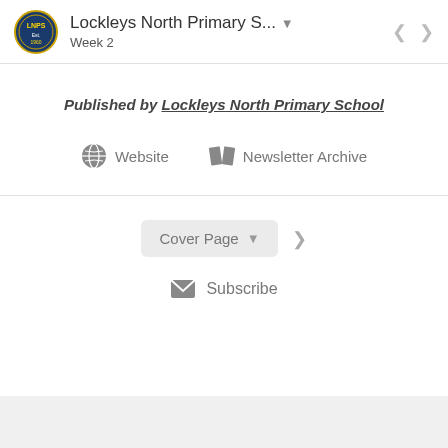Lockleys North Primary S... Week 2
Published by Lockleys North Primary School
Website   Newsletter Archive
Cover Page
Subscribe